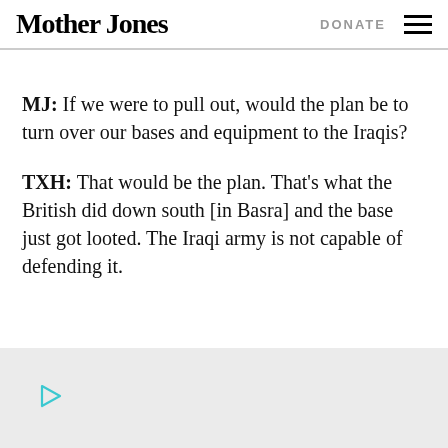Mother Jones | DONATE
MJ: If we were to pull out, would the plan be to turn over our bases and equipment to the Iraqis?
TXH: That would be the plan. That’s what the British did down south [in Basra] and the base just got looted. The Iraqi army is not capable of defending it.
[Figure (other): Advertisement area with a teal/cyan play button triangle icon]